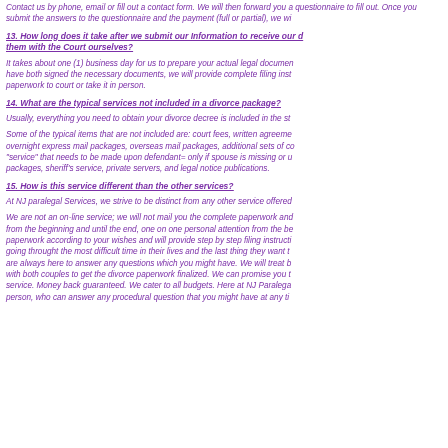Contact us by phone, email or fill out a contact form. We will then forward you a questionnaire to fill out. Once you submit the answers to the questionnaire and the payment (full or partial), we wi...
13. How long does it take after we submit our Information to receive our d... them with the Court ourselves?
It takes about one (1) business day for us to prepare your actual legal documen... have both signed the necessary documents, we will provide complete filing inst... paperwork to court or take it in person.
14. What are the typical services not included in a divorce package?
Usually, everything you need to obtain your divorce decree is included in the st...
Some of the typical items that are not included are: court fees, written agreeme... overnight express mail packages, overseas mail packages, additional sets of c... "service" that needs to be made upon defendant= only if spouse is missing or u... packages, sheriff's service, private servers, and legal notice publications.
15. How is this service different than the other services?
At NJ paralegal Services, we strive to be distinct from any other service offered...
We are not an on-line service; we will not mail you the complete paperwork and... from the beginning and until the end, one on one personal attention from the be... paperwork according to your wishes and will provide step by step filing instructi... going throught the most difficult time in their lives and the last thing they want t... are always here to answer any questions which you might have. We will treat b... with both couples to get the divorce paperwork finalized. We can promise you t... service. Money back guaranteed. We cater to all budgets. Here at NJ Paralega... person, who can answer any procedural question that you might have at any ti...